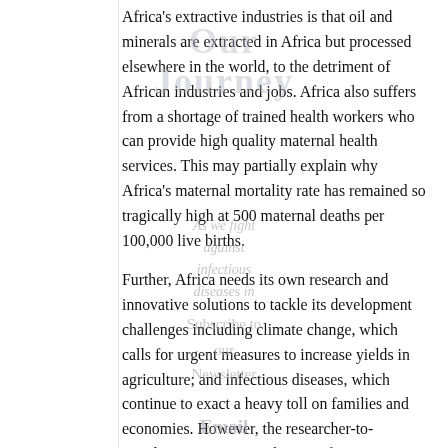Africa's extractive industries is that oil and minerals are extracted in Africa but processed elsewhere in the world, to the detriment of African industries and jobs. Africa also suffers from a shortage of trained health workers who can provide high quality maternal health services. This may partially explain why Africa's maternal mortality rate has remained so tragically high at 500 maternal deaths per 100,000 live births.
Further, Africa needs its own research and innovative solutions to tackle its development challenges including climate change, which calls for urgent measures to increase yields in agriculture; and infectious diseases, which continue to exact a heavy toll on families and economies. However, the researcher-to-population ratio is very low in African countries. Burkina Faso, for example, has 45